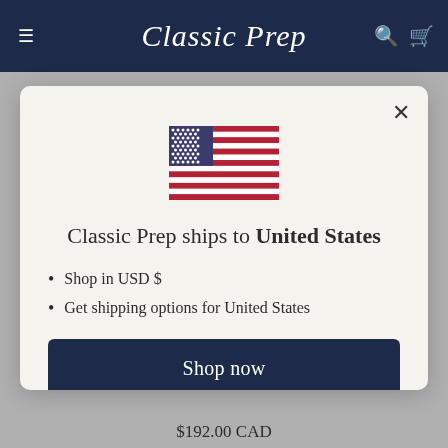Classic Prep
[Figure (illustration): US flag icon centered in modal dialog]
Classic Prep ships to United States
Shop in USD $
Get shipping options for United States
Shop now
Change shipping country
$192.00 CAD